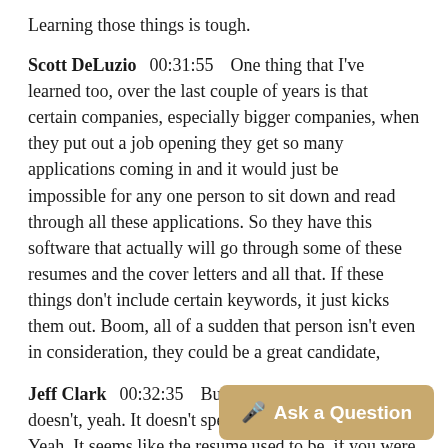Learning those things is tough.
Scott DeLuzio  00:31:55  One thing that I've learned too, over the last couple of years is that certain companies, especially bigger companies, when they put out a job opening they get so many applications coming in and it would just be impossible for any one person to sit down and read through all these applications. So they have this software that actually will go through some of these resumes and the cover letters and all that. If these things don't include certain keywords, it just kicks them out. Boom, all of a sudden that person isn't even in consideration, they could be a great candidate,
Jeff Clark  00:32:35  But it's about the resume. It doesn't, yeah. It doesn't speak. You like it used to. Yeah. It seems like the resume used to be, if you were good on your resume, you're interesting enough to talk to nowadays. You have to have like you said you have to have the right things on your resume, they don't like them they eliminate them they talked and didn't have that...
Ask a Question